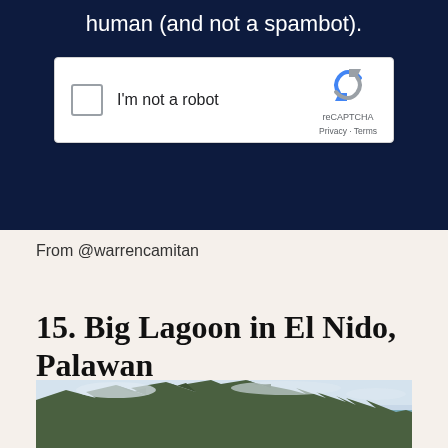human (and not a spambot).
[Figure (screenshot): reCAPTCHA widget with checkbox labeled 'I'm not a robot' and Google reCAPTCHA logo with Privacy and Terms links]
From @warrencamitan
15. Big Lagoon in El Nido, Palawan
[Figure (photo): Landscape photo of rocky karst mountains with green vegetation in El Nido, Palawan, Philippines, with a light sky and sea visible in the background]